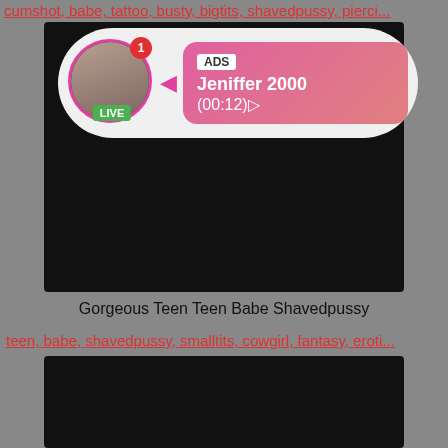cumshot, babe, tattoo, busty, bigtits, shavedpussy, pierci...
[Figure (screenshot): Video thumbnail with ad overlay showing a live profile bubble with avatar, LIVE badge, notification badge, ADS label, name Jeniffer 2000, time (00:12), HD badge, 6 min duration]
Gorgeous Teen Teen Babe Shavedpussy
teen, babe, shavedpussy, smalltits, cowgirl, fantasy, eroti...
[Figure (screenshot): Dark video thumbnail (second video)]